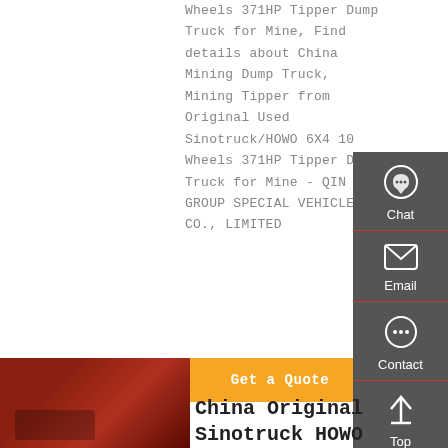Wheels 371HP Tipper Dump Truck for Mine, Find details about China Mining Dump Truck, Mining Tipper from Original Used Sinotruck/HOWO 6X4 10 Wheels 371HP Tipper Dump Truck for Mine - QINGE GROUP SPECIAL VEHICLES CO., LIMITED
Get a Quote
Chat
Email
Contact
Top
[Figure (photo): Photo of a red truck/vehicle engine bay area]
China Original Sinotruck HOWO